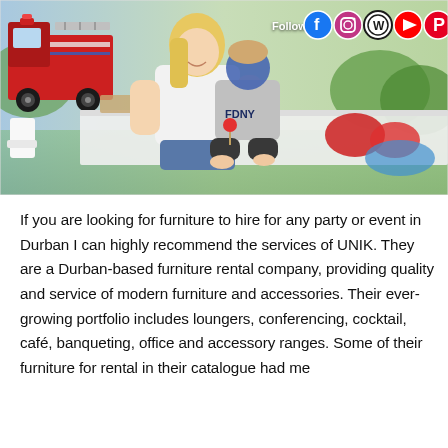[Figure (photo): A woman with blonde hair posing with a young boy wearing a grey FDNY shirt. They are at an outdoor party with a red fire truck in the background, white furniture, and red bean bag chairs. Social media icons (Facebook, Instagram, WordPress, YouTube, Pinterest, LinkedIn) are overlaid at the top right with a 'Follow' label.]
If you are looking for furniture to hire for any party or event in Durban I can highly recommend the services of UNIK. They are a Durban-based furniture rental company, providing quality and service of modern furniture and accessories. Their ever-growing portfolio includes loungers, conferencing, cocktail, café, banqueting, office and accessory ranges. Some of their furniture for rental in their catalogue had me